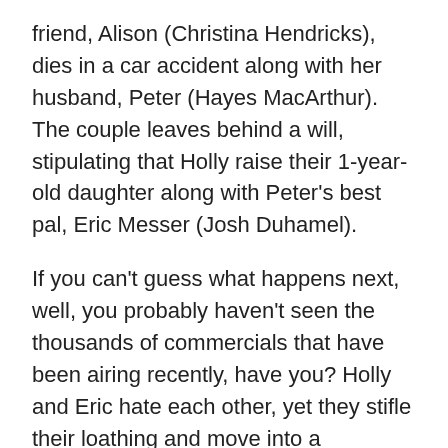friend, Alison (Christina Hendricks), dies in a car accident along with her husband, Peter (Hayes MacArthur). The couple leaves behind a will, stipulating that Holly raise their 1-year-old daughter along with Peter's best pal, Eric Messer (Josh Duhamel).
If you can't guess what happens next, well, you probably haven't seen the thousands of commercials that have been airing recently, have you? Holly and Eric hate each other, yet they stifle their loathing and move into a sprawling mansion in order to watch the little tot grow up. Still, when the baby goes poo-poo, the pair almost lose it. Will these two ever work things out? Will they ever get together?
There's nothing worse than a predictable romantic comedy, and this is as obvious as it gets. Also, Eric goes from the partial to the almost to the best from the...